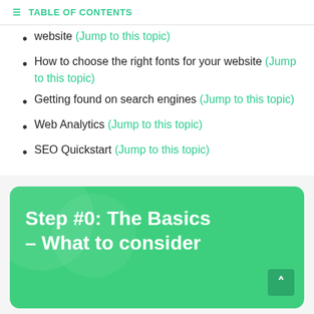☰ TABLE OF CONTENTS
website (Jump to this topic)
How to choose the right fonts for your website (Jump to this topic)
Getting found on search engines (Jump to this topic)
Web Analytics (Jump to this topic)
SEO Quickstart (Jump to this topic)
Step #0: The Basics – What to consider